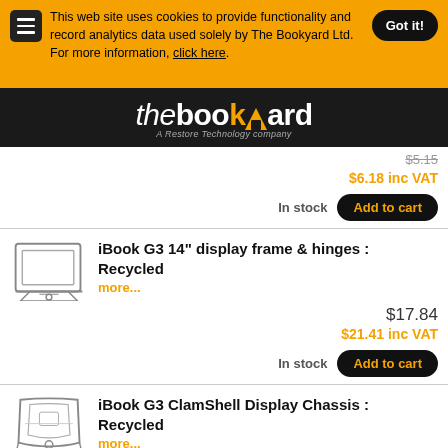This web site uses cookies to provide functionality and record analytics data used solely by The Bookyard Ltd. For more information, click here.
[Figure (logo): The Bookyard logo - 'thebookYard' in white and orange on black background, with tagline 'A Restore Technology company']
$5.15 (strikethrough) $6.18 inc VAT In stock
iBook G3 14" display frame & hinges : Recycled more... $17.84 $21.41 inc VAT In stock
iBook G3 ClamShell Display Chassis : Recycled more... $7.18 $8.62 inc VAT In stock
iBook G3 ClamShell Display Shield : Recycled more... $4.79